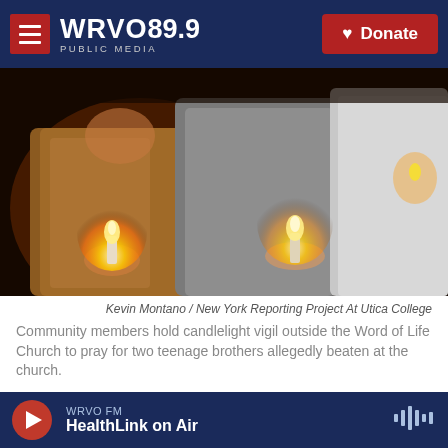WRVO 89.9 PUBLIC MEDIA | Donate
[Figure (photo): Community members holding candles at a candlelight vigil outside the Word of Life Church at night, warm candlelight illuminating their faces and hands.]
Kevin Montano / New York Reporting Project At Utica College
Community members hold candlelight vigil outside the Word of Life Church to pray for two teenage brothers allegedly beaten at the church.
A week after the brutal beating of two teenage boys at the Word of Life Church in New Hartford,
WRVO FM HealthLink on Air